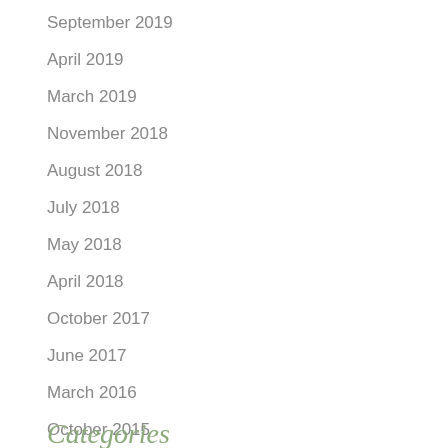September 2019
April 2019
March 2019
November 2018
August 2018
July 2018
May 2018
April 2018
October 2017
June 2017
March 2016
October 2015
Categories